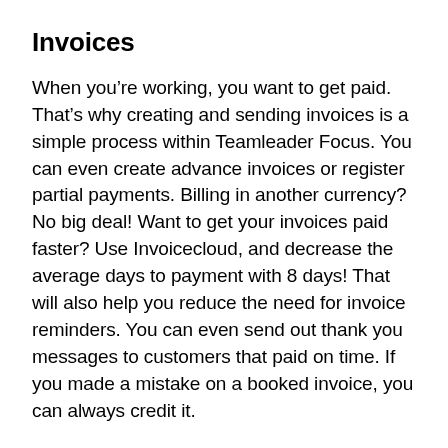Invoices
When you’re working, you want to get paid. That’s why creating and sending invoices is a simple process within Teamleader Focus. You can even create advance invoices or register partial payments. Billing in another currency? No big deal! Want to get your invoices paid faster? Use Invoicecloud, and decrease the average days to payment with 8 days! That will also help you reduce the need for invoice reminders. You can even send out thank you messages to customers that paid on time. If you made a mistake on a booked invoice, you can always credit it.
Create automatic invoice reminders, so you